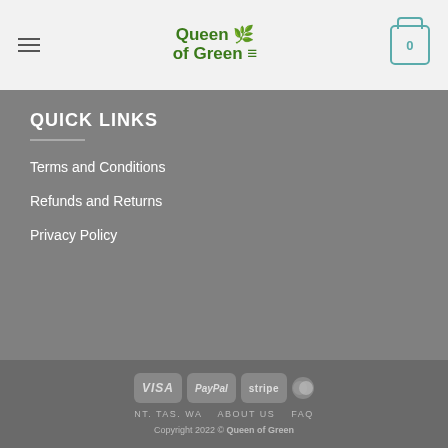Queen of Green — navigation header with hamburger menu and cart icon
QUICK LINKS
Terms and Conditions
Refunds and Returns
Privacy Policy
VISA | PayPal | stripe | MasterCard | NT. TAS. WA  ABOUT US  FAQ | Copyright 2022 © Queen of Green